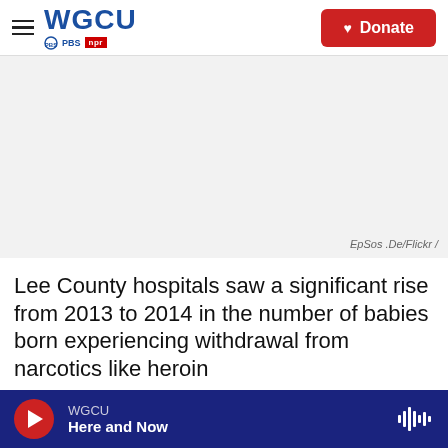WGCU PBS NPR | Donate
[Figure (photo): Blank/white image area with photo credit 'EpSos .De/Flickr /']
EpSos .De/Flickr /
Lee County hospitals saw a significant rise from 2013 to 2014 in the number of babies born experiencing withdrawal from narcotics like heroin
WGCU | Here and Now